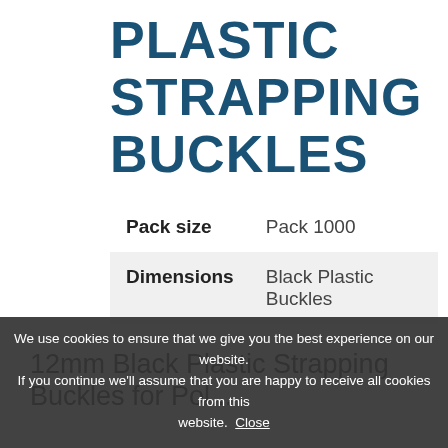PLASTIC STRAPPING BUCKLES
| Pack size | Pack 1000 |
| Dimensions | Black Plastic Buckles |
12mm Black Plastic Strapping Buckles for Polypropylene...
We use cookies to ensure that we give you the best experience on our website. If you continue we'll assume that you are happy to receive all cookies from this website. Close